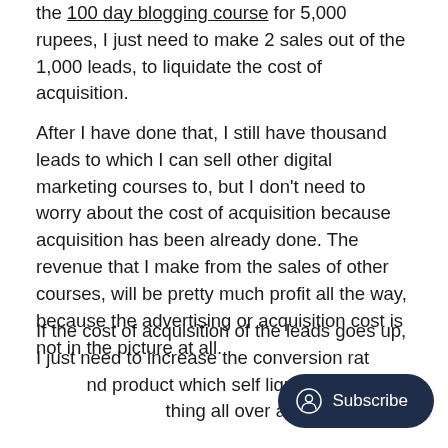the 100 day blogging course for 5,000 rupees, I just need to make 2 sales out of the 1,000 leads, to liquidate the cost of acquisition.
After I have done that, I still have thousand leads to which I can sell other digital marketing courses to, but I don't need to worry about the cost of acquisition because acquisition has been already done. The revenue that I make from the sales of other courses, will be pretty much profit all the way, because the advertising or acquisition cost is not in the picture at all.
If the cost of acquisition of the leads goes up, I just need to increase the conversion rate or find a product which self liquidates, and then repeat the thing all over again.